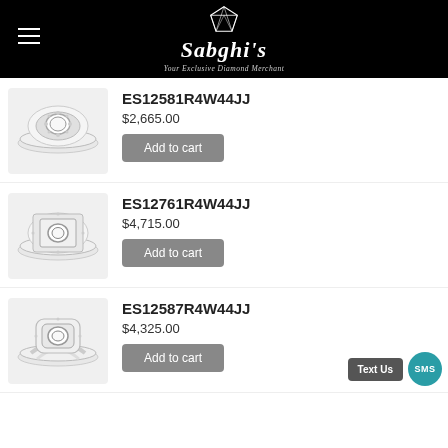[Figure (logo): Sabghi's jewelry store logo with diamond graphic and tagline 'Your Exclusive Diamond Merchant' on black header]
ES12581R4W44JJ
$2,665.00
Add to cart
ES12761R4W44JJ
$4,715.00
Add to cart
ES12587R4W44JJ
$4,325.00
Add to cart